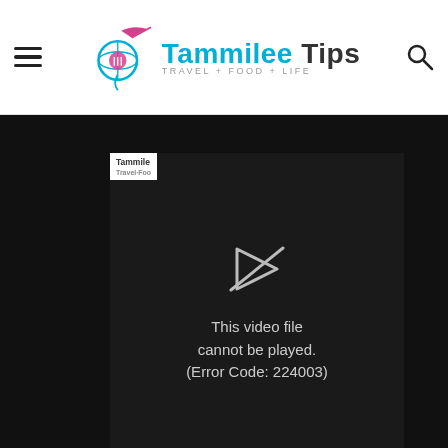Tammilee Tips — TRAVEL·FOOD·LIFE (with hamburger menu and search icon)
[Figure (screenshot): Video player showing error message: 'This video file cannot be played. (Error Code: 224003)' on dark background, with Tammilee Tips thumbnail logo in top-left corner.]
summer days. They are the perfect refreshing drink. One afternoon my Husband John and I looked at each other,
and it felt like a lightbulb popped up between us saying ding, ding, ding! Oh!